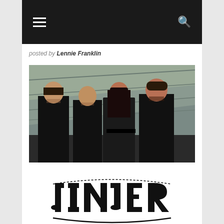Navigation bar with hamburger menu and search icon
posted by Lennie Franklin
[Figure (photo): Four band members standing in front of a concrete/wood background. Three males and one female (center) who has long dark hair and wears a blue shirt with a dark jacket. All dressed primarily in black.]
[Figure (logo): JINJER band logo in heavy metal style lettering with decorative arc underneath]